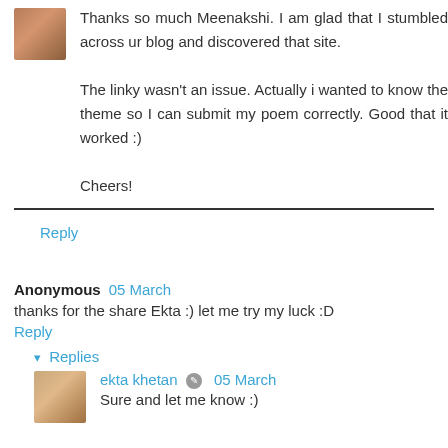Thanks so much Meenakshi. I am glad that I stumbled across ur blog and discovered that site.

The linky wasn't an issue. Actually i wanted to know the theme so I can submit my poem correctly. Good that it worked :)

Cheers!
Reply
Anonymous  05 March
thanks for the share Ekta :) let me try my luck :D
Reply
▾ Replies
ekta khetan  05 March
Sure and let me know :)